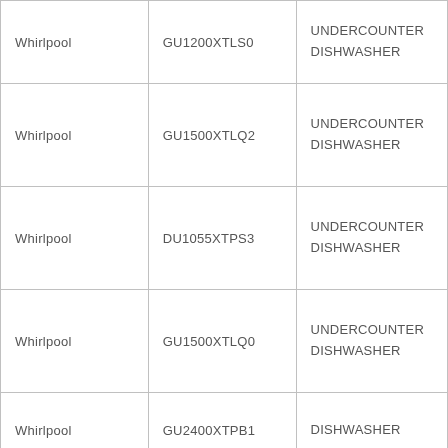| Brand | Model | Description |
| --- | --- | --- |
| Whirlpool | GU1200XTLS0 | UNDERCOUNTER DISHWASHER |
| Whirlpool | GU1500XTLQ2 | UNDERCOUNTER DISHWASHER |
| Whirlpool | DU1055XTPS3 | UNDERCOUNTER DISHWASHER |
| Whirlpool | GU1500XTLQ0 | UNDERCOUNTER DISHWASHER |
| Whirlpool | GU2400XTPB1 | DISHWASHER |
| Whirlpool | GU2400XTPQ3 | UNDERCOUNTER DISHWASHER |
| Whirlpool | ... | UNDERCOUNTER ... |